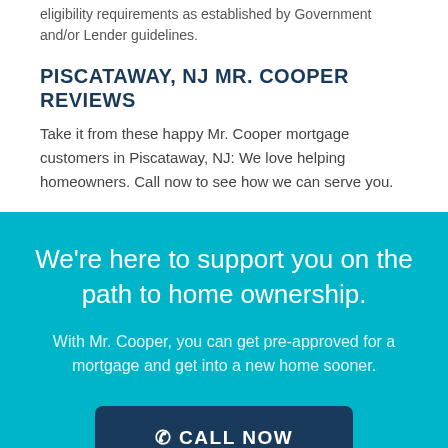eligibility requirements as established by Government and/or Lender guidelines.
PISCATAWAY, NJ MR. COOPER REVIEWS
Take it from these happy Mr. Cooper mortgage customers in Piscataway, NJ: We love helping homeowners. Call now to see how we can serve you.
We're here to support you on the path to home ownership.
With Mr. Cooper, you can get pre-approved for a mortgage and get into a new home sooner.
📞 CALL NOW